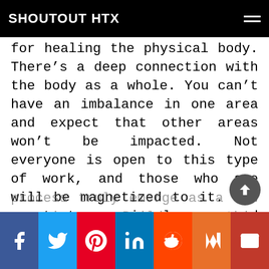SHOUTOUT HTX
for healing the physical body. There’s a deep connection with the body as a whole. You can’t have an imbalance in one area and expect that other areas won’t be impacted. Not everyone is open to this type of work, and those who are will be magnetized to it. The greatest miracles and transformations happen when people are willing to go deep and address the inner parts that are connected to the soul. The pills and potions are a big piece of the puzzle, but it all works together. What I’m most excited about today is that I’ve built a program that offers a total transformation. Those who commit to the process truly emerge as a new creation. Building this program has been a work in progress, it
f  t  P  in  reddit  mix  email